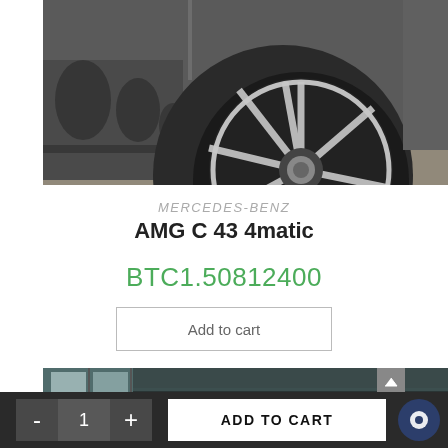[Figure (photo): Close-up photo of a Mercedes-Benz AMG C 43 4matic car showing the front wheel with multi-spoke alloy rim and part of the front bumper. The car is dark grey/matte finish.]
MERCEDES-BENZ
AMG C 43 4matic
BTC1.50812400
Add to cart
[Figure (photo): Partial photo of a dark-coloured car in what appears to be a showroom or parking area, showing the side of the vehicle.]
- 1 + ADD TO CART